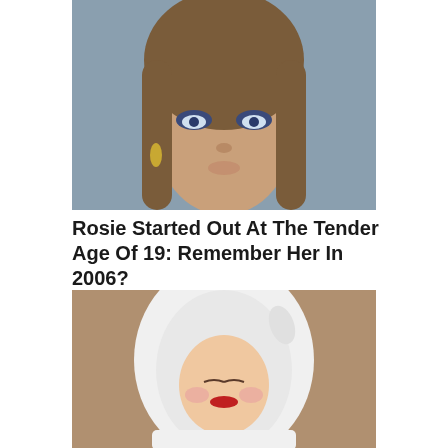[Figure (photo): Close-up portrait of a young woman with long brown hair, blue eyes with dark eye makeup, and gold earrings, against a gray background.]
Rosie Started Out At The Tender Age Of 19: Remember Her In 2006?
HERBEAUTY
[Figure (photo): A person wearing a large white bonnet or hood, dressed in white, with rosy cheeks and red lips, against a warm brown background.]